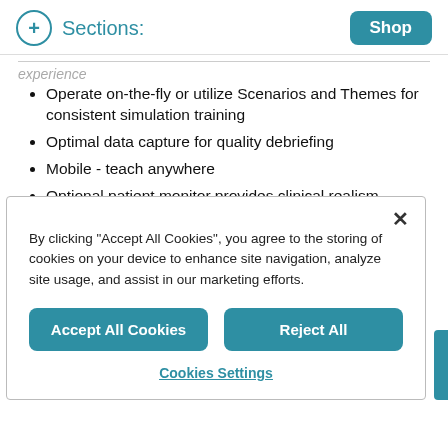Sections: Shop
experience
Operate on-the-fly or utilize Scenarios and Themes for consistent simulation training
Optimal data capture for quality debriefing
Mobile - teach anywhere
Optional patient monitor provides clinical realism
By clicking "Accept All Cookies", you agree to the storing of cookies on your device to enhance site navigation, analyze site usage, and assist in our marketing efforts.
Accept All Cookies
Reject All
Cookies Settings